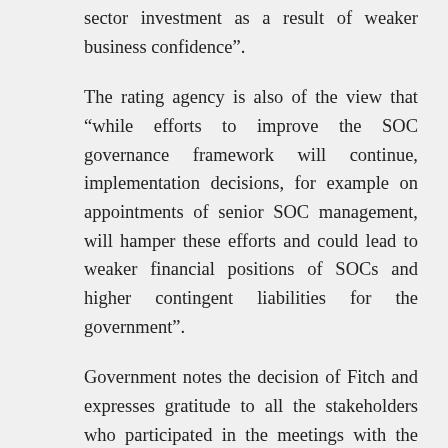sector investment as a result of weaker business confidence”.
The rating agency is also of the view that “while efforts to improve the SOC governance framework will continue, implementation decisions, for example on appointments of senior SOC management, will hamper these efforts and could lead to weaker financial positions of SOCs and higher contingent liabilities for the government”.
Government notes the decision of Fitch and expresses gratitude to all the stakeholders who participated in the meetings with the rating agency and ensured that the country is not downgraded further.
Nonetheless, government emphasises that fiscal consolidation remains firmly on track and government’s efforts remain focused on improving the growth